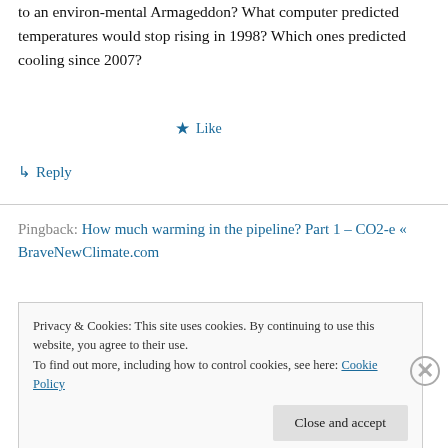to an environ-mental Armageddon? What computer predicted temperatures would stop rising in 1998? Which ones predicted cooling since 2007?
★ Like
↳ Reply
Pingback: How much warming in the pipeline? Part 1 – CO2-e « BraveNewClimate.com
Privacy & Cookies: This site uses cookies. By continuing to use this website, you agree to their use.
To find out more, including how to control cookies, see here: Cookie Policy
Close and accept